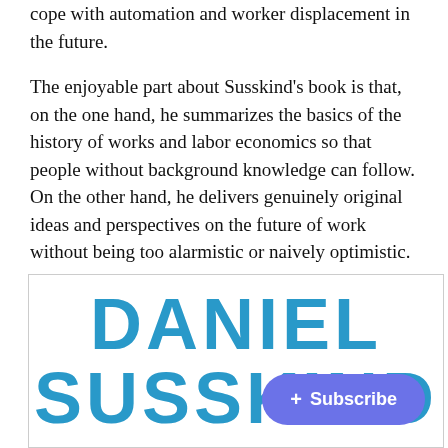cope with automation and worker displacement in the future.
The enjoyable part about Susskind's book is that, on the one hand, he summarizes the basics of the history of works and labor economics so that people without background knowledge can follow. On the other hand, he delivers genuinely original ideas and perspectives on the future of work without being too alarmistic or naively optimistic.
[Figure (other): Book cover or promotional image showing 'DANIEL SUSSKIND' in large bold teal/blue letters, with a purple rounded 'Subscribe' button overlaid in the bottom right corner]